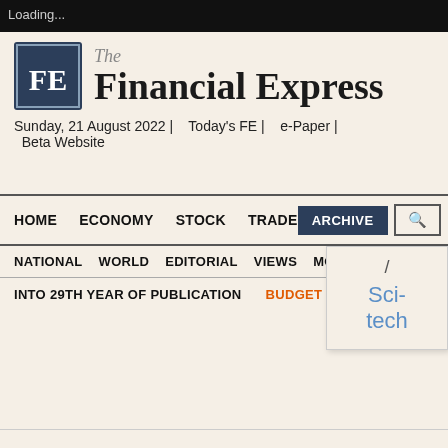Loading...
The Financial Express
Sunday, 21 August 2022 | Today's FE | e-Paper | Beta Website
HOME  ECONOMY  STOCK  TRADE  ARCHIVE  [search]
NATIONAL  WORLD  EDITORIAL  VIEWS  MORE
INTO 29TH YEAR OF PUBLICATION  BUDGET FY23  Sci-tech